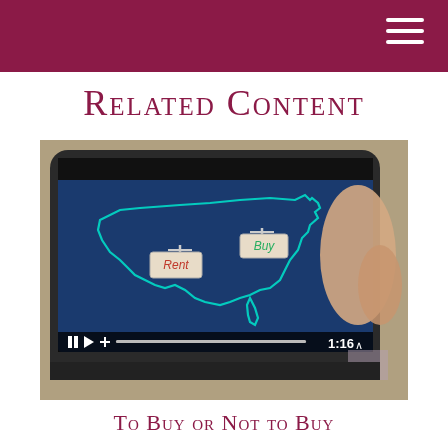Related Content
Related Content
[Figure (screenshot): Video thumbnail showing a person holding a tablet displaying a map of the United States with 'Rent' and 'Buy' real estate signs. Video player controls show at the bottom with timestamp 1:16.]
To Buy or Not to Buy